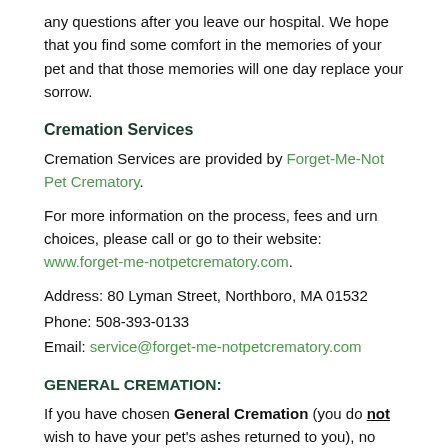any questions after you leave our hospital. We hope that you find some comfort in the memories of your pet and that those memories will one day replace your sorrow.
Cremation Services
Cremation Services are provided by Forget-Me-Not Pet Crematory.
For more information on the process, fees and urn choices, please call or go to their website: www.forget-me-notpetcrematory.com.
Address: 80 Lyman Street, Northboro, MA 01532
Phone: 508-393-0133
Email: service@forget-me-notpetcrematory.com
GENERAL CREMATION:
If you have chosen General Cremation (you do not wish to have your pet's ashes returned to you), no further action is needed on your part. Payment for this service is collected by aBulger Client Care team member at the time of your visit. If you have requested